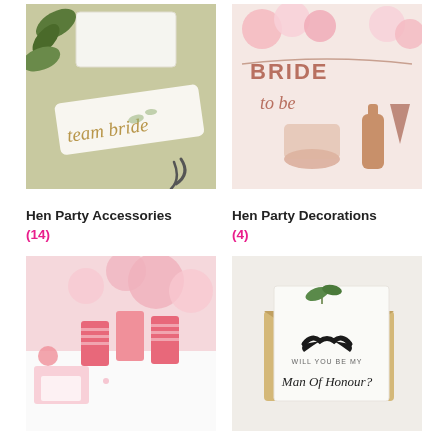[Figure (photo): Hen party accessories photo showing 'team bride' sash with botanical/floral design in gold, on a light green background with tropical leaves]
[Figure (photo): Hen party decorations photo showing rose gold 'Bride to Be' bunting banner with balloons and rose gold metallic accessories]
Hen Party Accessories
(14)
Hen Party Decorations
(4)
[Figure (photo): Pink hen party tableware and accessories including pink cups, plates, confetti and party items with pink balloons in background]
[Figure (photo): White greeting card with black moustache illustration and script text reading 'Will You Be My Man Of Honour?' with a gold envelope]